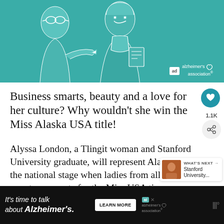[Figure (illustration): Teal-colored illustrated advertisement banner showing two people with Alzheimer's Association logo (ad badge and logo with brain icon)]
Business smarts, beauty and a love for her culture? Why wouldn't she win the Miss Alaska USA title!
Alyssa London, a Tlingit woman and Stanford University graduate, will represent Alaska on the national stage when ladies from all over the country compete for the Miss USA title this summer.
[Figure (photo): Small thumbnail photo of a person, part of 'What's Next' recommendation widget showing 'Stanford University...']
[Figure (advertisement): Black bottom banner ad: It's time to talk about Alzheimer's. LEARN MORE button and Alzheimer's Association logo.]